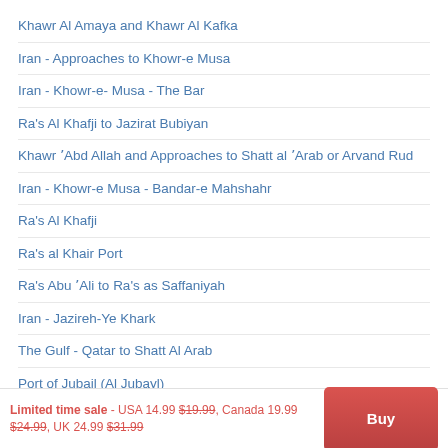Khawr Al Amaya and Khawr Al Kafka
Iran - Approaches to Khowr-e Musa
Iran - Khowr-e- Musa - The Bar
Ra's Al Khafji to Jazirat Bubiyan
Khawr ʿAbd Allah and Approaches to Shatt al ʿArab or Arvand Rud
Iran - Khowr-e Musa - Bandar-e Mahshahr
Ra's Al Khafji
Ra's al Khair Port
Ra's Abu ʿAli to Ra's as Saffaniyah
Iran - Jazireh-Ye Khark
The Gulf - Qatar to Shatt Al Arab
Port of Jubail (Al Jubayl)
Approaches to Port of Jubail (Al Jubayl)
Limited time sale - USA 14.99 $19.99, Canada 19.99 $24.99, UK 24.99 $31.99  Buy